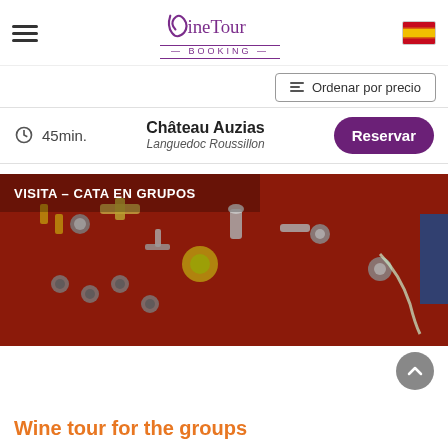Wine Tour Booking
Ordenar por precio
45min. — Château Auzias, Languedoc Roussillon — Reservar
[Figure (photo): Red pegboard with various metal pipe fittings, connectors and winery equipment arranged on it. Label overlay reads: VISITA – CATA EN GRUPOS]
Wine tour for the groups